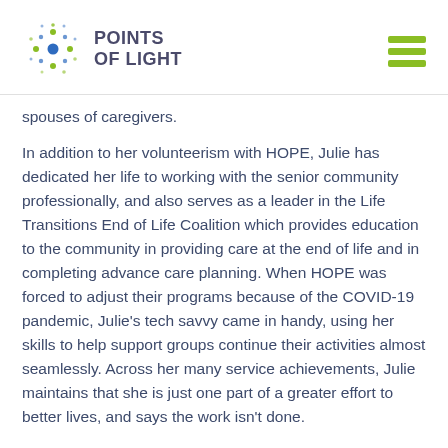POINTS OF LIGHT
spouses of caregivers.
In addition to her volunteerism with HOPE, Julie has dedicated her life to working with the senior community professionally, and also serves as a leader in the Life Transitions End of Life Coalition which provides education to the community in providing care at the end of life and in completing advance care planning. When HOPE was forced to adjust their programs because of the COVID-19 pandemic, Julie's tech savvy came in handy, using her skills to help support groups continue their activities almost seamlessly. Across her many service achievements, Julie maintains that she is just one part of a greater effort to better lives, and says the work isn't done.